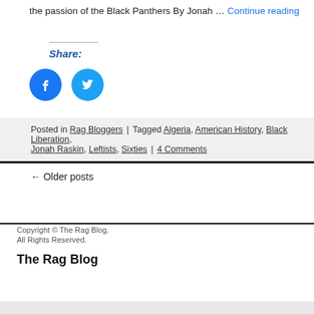the passion of the Black Panthers By Jonah … Continue reading
Share:
[Figure (illustration): Facebook and Twitter social share icon buttons (blue circles with white logos)]
Posted in Rag Bloggers | Tagged Algeria, American History, Black Liberation, Jonah Raskin, Leftists, Sixties | 4 Comments
← Older posts
Copyright © The Rag Blog.
All Rights Reserved.
The Rag Blog